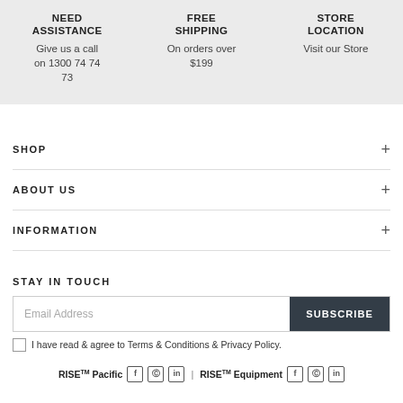NEED ASSISTANCE
Give us a call on 1300 74 74 73
FREE SHIPPING
On orders over $199
STORE LOCATION
Visit our Store
SHOP
ABOUT US
INFORMATION
STAY IN TOUCH
Email Address
SUBSCRIBE
I have read & agree to Terms & Conditions & Privacy Policy.
RISE™ Pacific | RISE™ Equipment